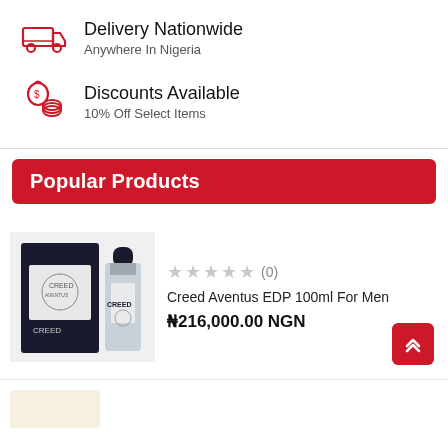Delivery Nationwide
Anywhere In Nigeria
Discounts Available
10% Off Select Items
Popular Products
[Figure (photo): Product photo of Creed Aventus EDP 100ml For Men perfume box and bottle]
★★★★★ (0)
Creed Aventus EDP 100ml For Men
₦216,000.00 NGN
[Figure (photo): Partial product image visible at bottom of page]